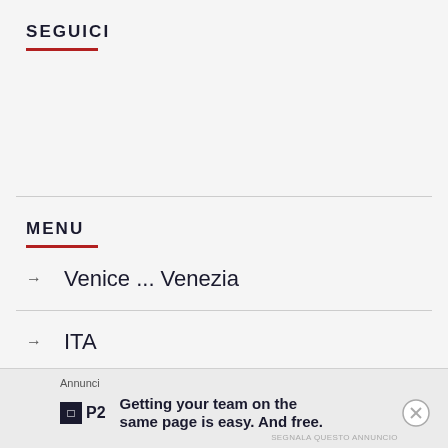SEGUICI
MENU
Venice ... Venezia
ITA
Annunci
Getting your team on the same page is easy. And free.